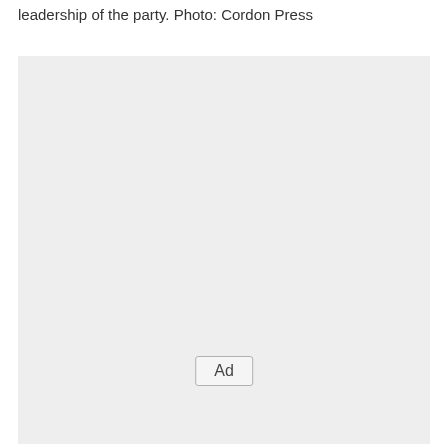leadership of the party. Photo: Cordon Press
[Figure (other): Large light grey advertisement placeholder box with an 'Ad' label button centered near the bottom of the box.]